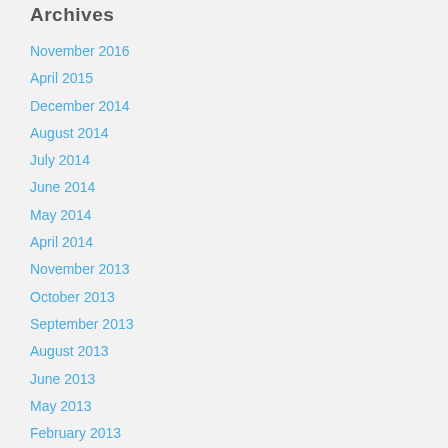Archives
November 2016
April 2015
December 2014
August 2014
July 2014
June 2014
May 2014
April 2014
November 2013
October 2013
September 2013
August 2013
June 2013
May 2013
February 2013
January 2013
October 2012
August 2012
July 2012
June 2012
May 2012